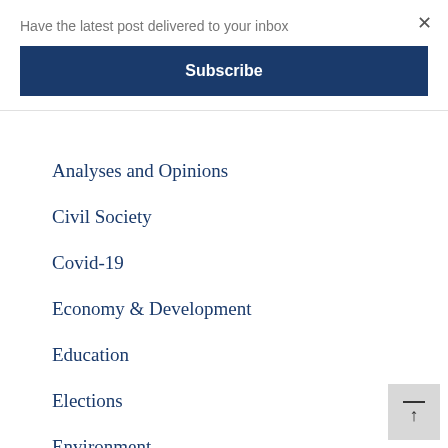Have the latest post delivered to your inbox
×
Subscribe
Analyses and Opinions
Civil Society
Covid-19
Economy & Development
Education
Elections
Environment
Freedom of Speech